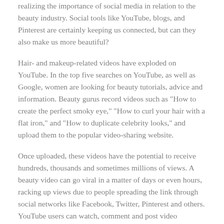realizing the importance of social media in relation to the beauty industry. Social tools like YouTube, blogs, and Pinterest are certainly keeping us connected, but can they also make us more beautiful?
Hair- and makeup-related videos have exploded on YouTube. In the top five searches on YouTube, as well as Google, women are looking for beauty tutorials, advice and information. Beauty gurus record videos such as "How to create the perfect smoky eye," "How to curl your hair with a flat iron," and "How to duplicate celebrity looks," and upload them to the popular video-sharing website.
Once uploaded, these videos have the potential to receive hundreds, thousands and sometimes millions of views. A beauty video can go viral in a matter of days or even hours, racking up views due to people spreading the link through social networks like Facebook, Twitter, Pinterest and others. YouTube users can watch, comment and post video responses.
This environment provides an interactive virtual experience for what was